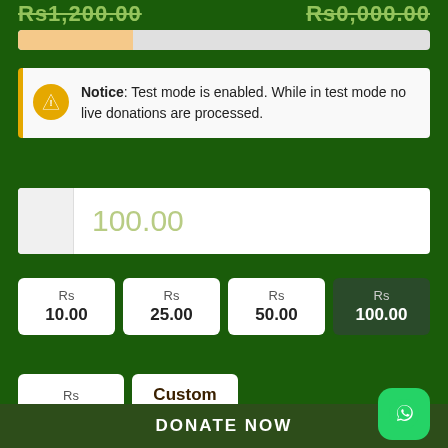Rs1,200.00   Rs0,000.00
[Figure (infographic): Progress bar showing donation goal progress, approximately 28% filled in a peach/tan color on a light gray background]
Notice: Test mode is enabled. While in test mode no live donations are processed.
100.00
Rs 10.00
Rs 25.00
Rs 50.00
Rs 100.00
Rs 250.00
Custom Amount
DONATE NOW